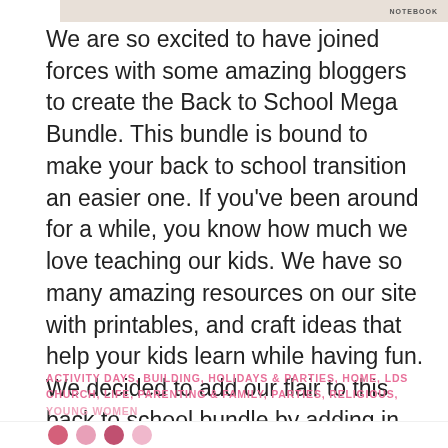[Figure (photo): Partial top image strip showing school/notebook themed items, cut off at top of page]
We are so excited to have joined forces with some amazing bloggers to create the Back to School Mega Bundle. This bundle is bound to make your back to school transition an easier one. If you've been around for a while, you know how much we love teaching our kids. We have so many amazing resources on our site with printables, and craft ideas that help your kids learn while having fun. We decided to add our flair to this back to school bundle by adding in our super fun Back To School ... [Read more...]
ACTIVITY DAYS, BUILDING, HOLIDAYS & PARTIES, HOME, LDS CHURCH, LIFE, PARENTING & FAMILY, PARTIES, RELIGIOUS, YOUNG WOMEN